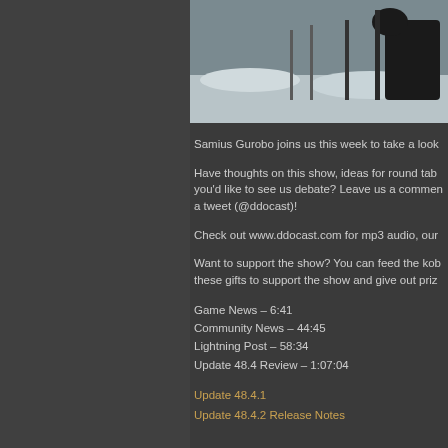[Figure (photo): Outdoor winter scene photo showing snow-covered ground with dark animal figure and fence/poles visible]
Samius Gurobo joins us this week to take a look
Have thoughts on this show, ideas for round tab you'd like to see us debate? Leave us a commer a tweet (@ddocast)!
Check out www.ddocast.com for mp3 audio, our
Want to support the show? You can feed the kob these gifts to support the show and give out priz
Game News – 6:41
Community News – 44:45
Lightning Post – 58:34
Update 48.4 Review – 1:07:04
Update 48.4.1
Update 48.4.2 Release Notes